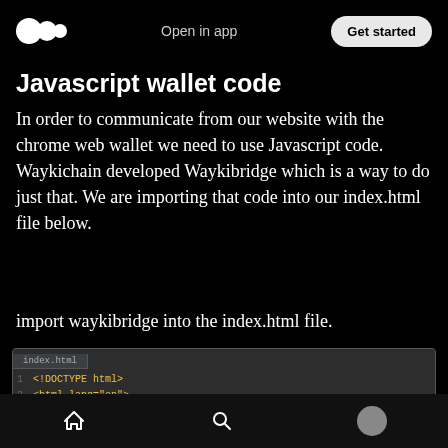Open in app | Get started
Javascript wallet code
In order to communicate from our website with the chrome web wallet we need to use Javascript code. Waykichain developed Waykibridge which is a way to do just that. We are importing that code into our index.html file below.
import waykibridge into the index.html file.
[Figure (screenshot): Screenshot of a code editor showing an HTML file (index.html) with lines: <!DOCTYPE html>, <html lang="en">, <head>, <meta charset="UTF-8">, <title>Title</title>, and a partial script tag importing waykibridge.]
Home | Search | Profile navigation icons